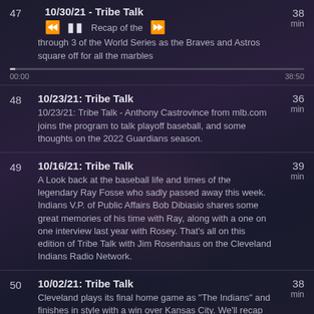47 | 10/30/21 - Tribe Talk | 38 min
10/30/21 - Tribe Talk - Recap of the games 1 through 3 of the World Series as the Braves and Astros square off for all the marbles
00:00 ... 38:50
48 | 10/23/21: Tribe Talk | 36 min
10/23/21: Tribe Talk - Anthony Castrovince from mlb.com joins the program to talk playoff baseball, and some thoughts on the 2022 Guardians season.
49 | 10/16/21: Tribe Talk | 39 min
A Look back at the baseball life and times of the legendary Ray Fosse who sadly passed away this week. Indians V.P. of Public Affairs Bob Dibiasio shares some great memories of his time with Ray, along with a one on one interview last year with Rosey. That's all on this edition of Tribe Talk with Jim Rosenhaus on the Cleveland Indians Radio Network.
50 | 10/02/21: Tribe Talk | 38 min
Cleveland plays its final home game as "The Indians" and finishes in style with a win over Kansas City. We'll recap that along with the final road trip, and talk to Shane Bieber and Jose